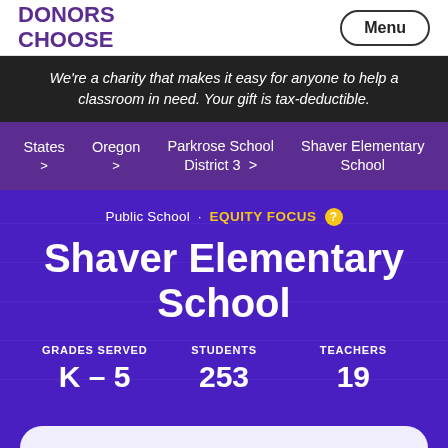DONORS CHOOSE
Menu
We're a charity that makes it easy for anyone to help a classroom in need. Your gift is tax-deductible.
States >   Oregon >   Parkrose School District 3 >   Shaver Elementary School
Public School · EQUITY FOCUS
Shaver Elementary School
GRADES SERVED K – 5   STUDENTS 253   TEACHERS 19